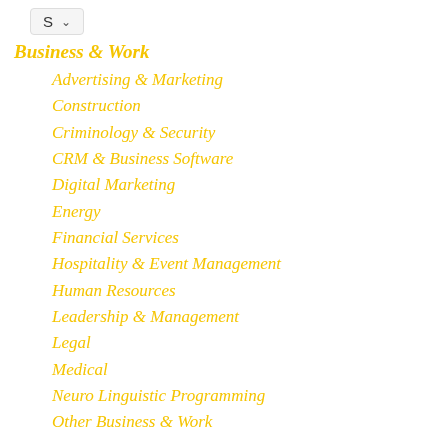S ˅
Business & Work
Advertising & Marketing
Construction
Criminology & Security
CRM & Business Software
Digital Marketing
Energy
Financial Services
Hospitality & Event Management
Human Resources
Leadership & Management
Legal
Medical
Neuro Linguistic Programming
Other Business & Work